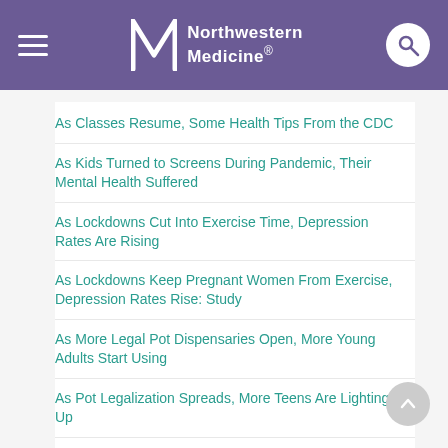Northwestern Medicine
As Classes Resume, Some Health Tips From the CDC
As Kids Turned to Screens During Pandemic, Their Mental Health Suffered
As Lockdowns Cut Into Exercise Time, Depression Rates Are Rising
As Lockdowns Keep Pregnant Women From Exercise, Depression Rates Rise: Study
As More Legal Pot Dispensaries Open, More Young Adults Start Using
As Pot Legalization Spreads, More Teens Are Lighting Up
As Social Media Time Rises, So Does Teen Girls'